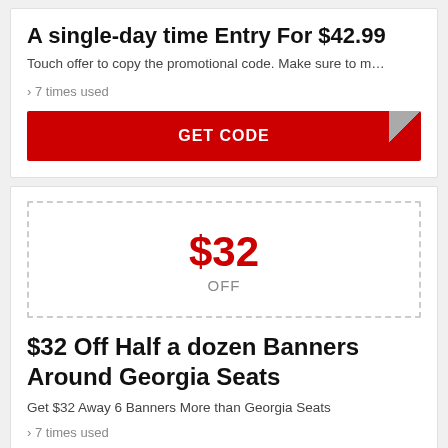A single-day time Entry For $42.99
Touch offer to copy the promotional code. Make sure to m…
› 7 times used
GET CODE
[Figure (other): Coupon box with $32 OFF]
$32 Off Half a dozen Banners Around Georgia Seats
Get $32 Away 6 Banners More than Georgia Seats
› 7 times used